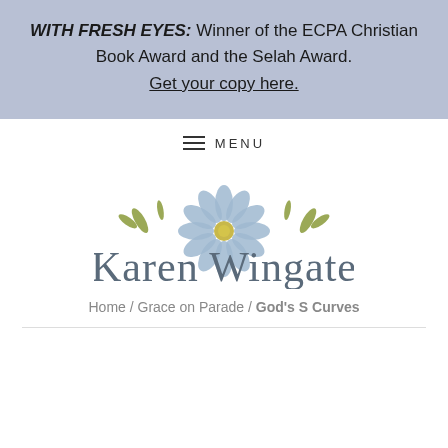WITH FRESH EYES: Winner of the ECPA Christian Book Award and the Selah Award. Get your copy here.
MENU
[Figure (logo): Karen Wingate logo with a blue daisy flower and olive leaf decorations above the cursive text 'Karen Wingate']
Home / Grace on Parade / God's S Curves